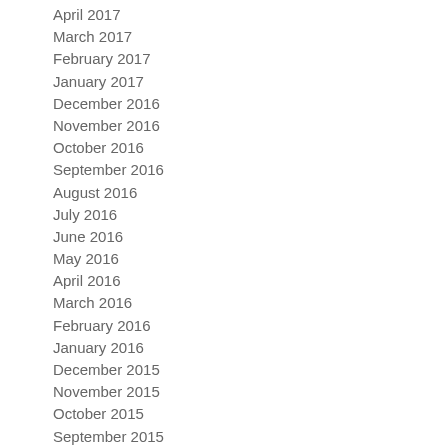April 2017
March 2017
February 2017
January 2017
December 2016
November 2016
October 2016
September 2016
August 2016
July 2016
June 2016
May 2016
April 2016
March 2016
February 2016
January 2016
December 2015
November 2015
October 2015
September 2015
August 2015
July 2015
June 2015
May 2015
April 2015
March 2015
February 2015
January 2015
December 2014